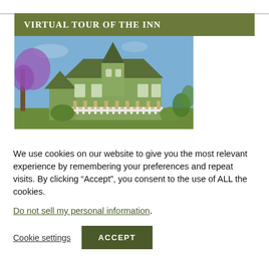VIRTUAL TOUR OF THE INN
[Figure (photo): Victorian-style inn building with green siding, a pointed turret, wraparound porch, white picket fence, purple flowering tree on the left, and blue sky in the background.]
We use cookies on our website to give you the most relevant experience by remembering your preferences and repeat visits. By clicking “Accept”, you consent to the use of ALL the cookies.
Do not sell my personal information.
Cookie settings
ACCEPT